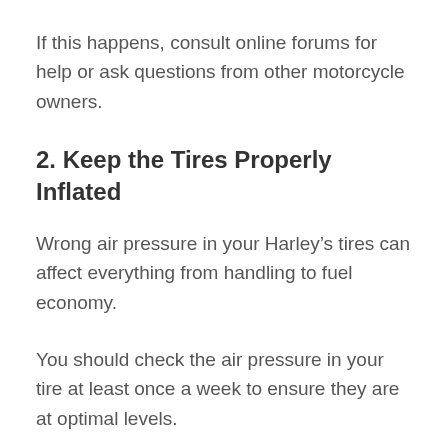If this happens, consult online forums for help or ask questions from other motorcycle owners.
2. Keep the Tires Properly Inflated
Wrong air pressure in your Harley’s tires can affect everything from handling to fuel economy.
You should check the air pressure in your tire at least once a week to ensure they are at optimal levels.
This will improve your bike’s overall performance and reduce the risk of a crash.
3. Check Fluids